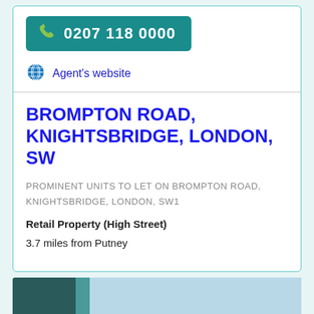0207 118 0000
Agent's website
BROMPTON ROAD, KNIGHTSBRIDGE, LONDON, SW
PROMINENT UNITS TO LET ON BROMPTON ROAD, KNIGHTSBRIDGE, LONDON, SW1
Retail Property (High Street)
3.7 miles from Putney
[Figure (photo): Bottom strip showing partial image of property or agent]